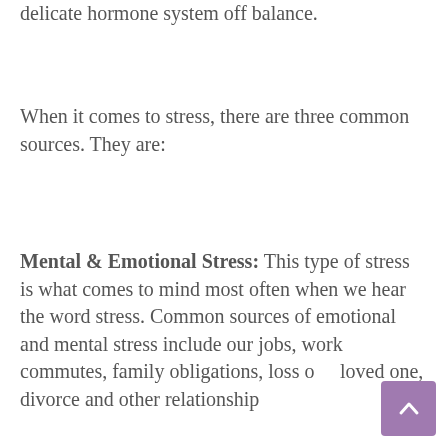delicate hormone system off balance.
When it comes to stress, there are three common sources. They are:
Mental & Emotional Stress: This type of stress is what comes to mind most often when we hear the word stress. Common sources of emotional and mental stress include our jobs, work commutes, family obligations, loss of a loved one, divorce and other relationship